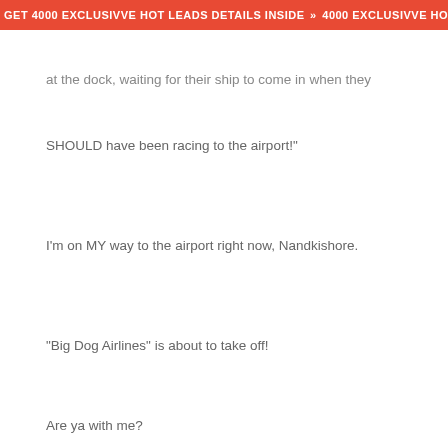GET 4000 EXCLUSIVVE HOT LEADS DETAILS INSIDE » 4000 EXCLUSIVVE HOT
at the dock, waiting for their ship to come in when they
SHOULD have been racing to the airport!"
I'm on MY way to the airport right now, Nandkishore.
"Big Dog Airlines" is about to take off!
Are ya with me?